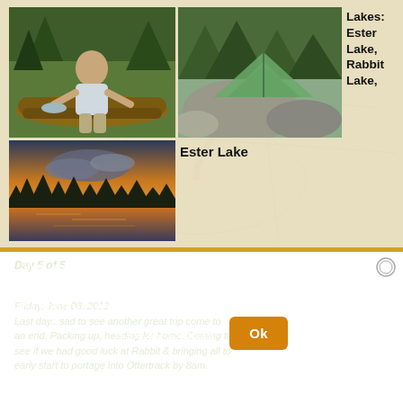[Figure (photo): Photo collage: top-left shows a man sitting on logs in a forest holding fish; top-right shows a green camping tent among rocks and trees; bottom-left shows a lake sunset with silhouetted treeline and dramatic clouds]
Lakes: Ester Lake, Rabbit Lake,
Ester Lake
We use cookies to enhance your experience for analytics, and to support 3rd party content and advertising providers. If you continue using this website, you agree to our privacy and legal agreement. Ok